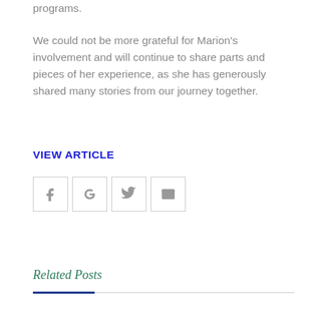programs.
We could not be more grateful for Marion's involvement and will continue to share parts and pieces of her experience, as she has generously shared many stories from our journey together.
VIEW ARTICLE
[Figure (other): Four social media sharing icon buttons in bordered boxes: Facebook, Google+, Twitter, Email]
Related Posts